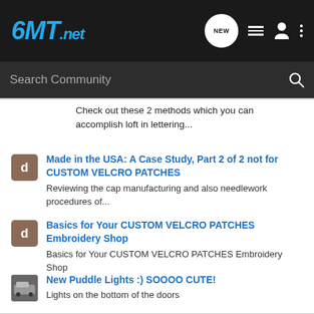6MT.net — Search Community header with navigation icons
Check out these 2 methods which you can accomplish loft in lettering...
Made in the USA: A Case Study, Part 2 of 2 not for CUSTOM VELCRO PATCHES
Reviewing the cap manufacturing and also needlework procedures of...
Basics for Your CUSTOM VELCRO PATCHES Embroidery Shop
Basics for Your CUSTOM VELCRO PATCHES Embroidery Shop
New Puddle Lights :) SOOOO CUTE!
Lights on the bottom of the doors